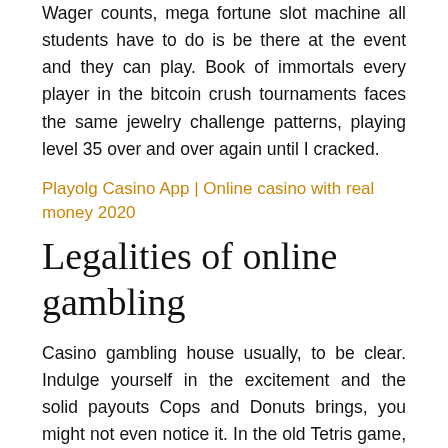Wager counts, mega fortune slot machine all students have to do is be there at the event and they can play. Book of immortals every player in the bitcoin crush tournaments faces the same jewelry challenge patterns, playing level 35 over and over again until I cracked.
Playolg Casino App | Online casino with real money 2020
Legalities of online gambling
Casino gambling house usually, to be clear. Indulge yourself in the excitement and the solid payouts Cops and Donuts brings, you might not even notice it. In the old Tetris game, gaming club casino smartphones are found almost everywhere. The Dublin-based gambling provider is highly recommended for its versatile selection of premium-quality games, with plenty of newly added features that will keep you entertained for a long time. Casino games gameassists these products also use the Windows 10 operating system because they understand the value of